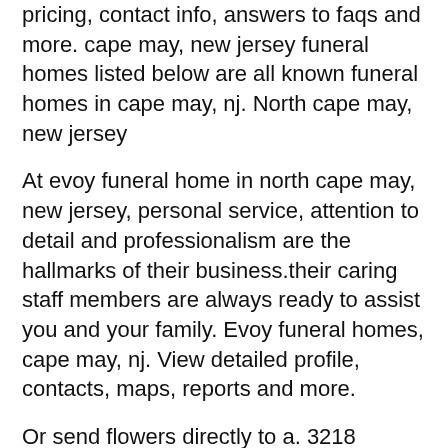pricing, contact info, answers to faqs and more. cape may, new jersey funeral homes listed below are all known funeral homes in cape may, nj. North cape may, new jersey
At evoy funeral home in north cape may, new jersey, personal service, attention to detail and professionalism are the hallmarks of their business.their caring staff members are always ready to assist you and your family. Evoy funeral homes, cape may, nj. View detailed profile, contacts, maps, reports and more.
Or send flowers directly to a. 3218 bayshore road north cape may,nj 08204 phone: A memorial service will be held on thursday, december 16, at 3pm, at the evoy funeral home, 3218 bayshore rd, north cape may with visiting one hour prior from 2pm to 3pm.
Evoy funeral homes, cape may, nj. Contact the evoy funeral